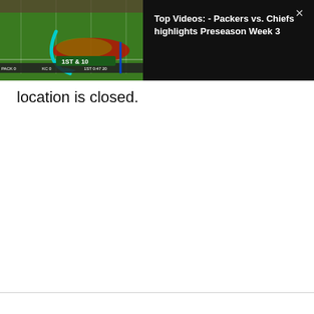[Figure (screenshot): A football game video thumbnail showing players on a green field with a cyan arc arrow, scoreboard overlay showing '1ST & 10', and team score graphics at bottom.]
Top Videos: - Packers vs. Chiefs highlights Preseason Week 3
location is closed.